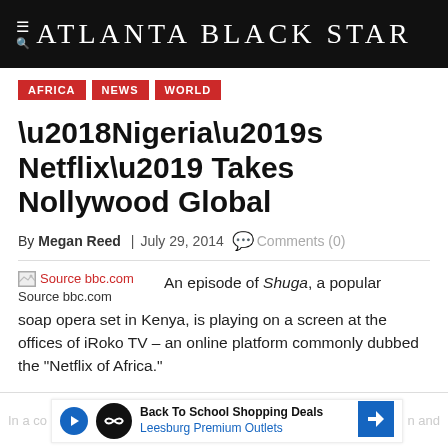Atlanta Black Star
AFRICA
NEWS
WORLD
‘Nigeria’s Netflix’ Takes Nollywood Global
By Megan Reed | July 29, 2014 Comments (0)
[Figure (photo): Source bbc.com image placeholder with broken image icon and red link text]
Source bbc.com
An episode of Shuga, a popular soap opera set in Kenya, is playing on a screen at the offices of iRoko TV – an online platform commonly dubbed the “Netflix of Africa.”
In a co... n and
[Figure (infographic): Advertisement banner: Back To School Shopping Deals - Leesburg Premium Outlets]